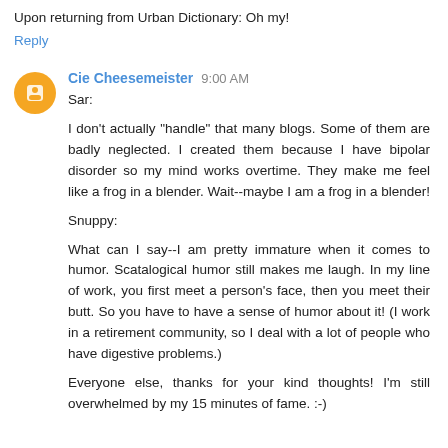Upon returning from Urban Dictionary: Oh my!
Reply
Cie Cheesemeister  9:00 AM
Sar:
I don't actually "handle" that many blogs. Some of them are badly neglected. I created them because I have bipolar disorder so my mind works overtime. They make me feel like a frog in a blender. Wait--maybe I am a frog in a blender!

Snuppy:
What can I say--I am pretty immature when it comes to humor. Scatalogical humor still makes me laugh. In my line of work, you first meet a person's face, then you meet their butt. So you have to have a sense of humor about it! (I work in a retirement community, so I deal with a lot of people who have digestive problems.)

Everyone else, thanks for your kind thoughts! I'm still overwhelmed by my 15 minutes of fame. :-)